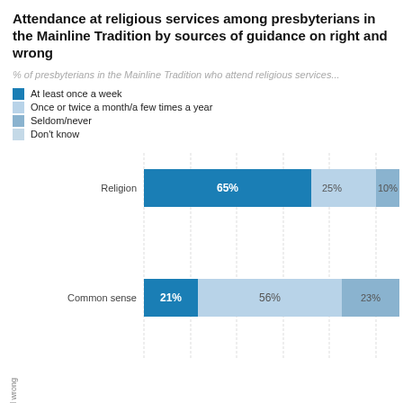Attendance at religious services among presbyterians in the Mainline Tradition by sources of guidance on right and wrong
% of presbyterians in the Mainline Tradition who attend religious services...
At least once a week
Once or twice a month/a few times a year
Seldom/never
Don't know
[Figure (stacked-bar-chart): Attendance at religious services among presbyterians in the Mainline Tradition by sources of guidance on right and wrong]